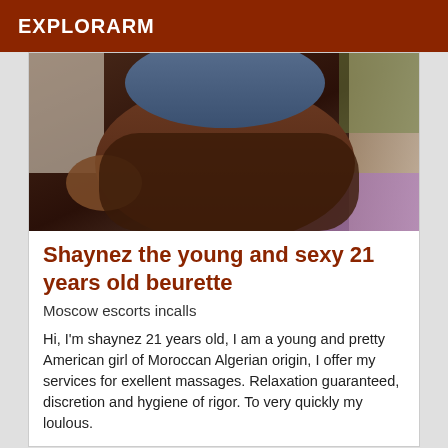EXPLORARM
[Figure (photo): Close-up photo of a person's lower body outdoors]
Shaynez the young and sexy 21 years old beurette
Moscow escorts incalls
Hi, I'm shaynez 21 years old, I am a young and pretty American girl of Moroccan Algerian origin, I offer my services for exellent massages. Relaxation guaranteed, discretion and hygiene of rigor. To very quickly my loulous.
Verified